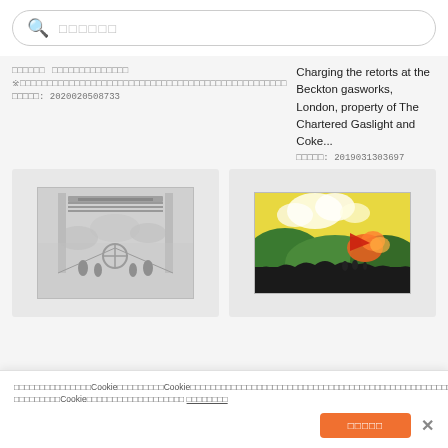□□□□□□
□□□□□□ □□□□□□□□□□□□□□ ※□□□□□□□□□□□□□□□□□□□□□□□□□□□□□□□□□□□□□□□□□□□□ □□□□□: 2020020508733
Charging the retorts at the Beckton gasworks, London, property of The Chartered Gaslight and Coke... □□□□□: 2019031303697
[Figure (photo): Black and white illustration of an industrial hall interior with workers]
[Figure (photo): Colorful painting of a landscape with figures and explosions]
□□□□□□□□□□□□□□□Cookie□□□□□□□□□Cookie□□□□□□□□□□□□□□□□□□□□□□□□□□□□□□□□□□□□□□□□□□□□□□□□□□□□□□□□□□□□Cookie□□□□□□□□□□□□□□□□□□□□□□□□□□